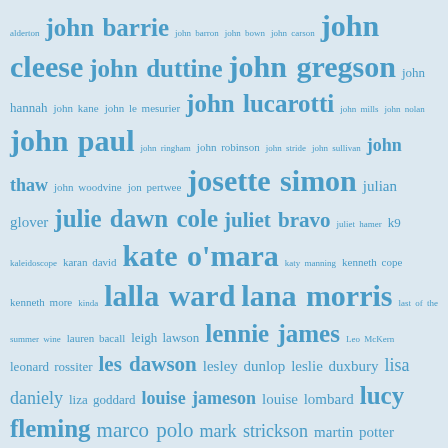[Figure (other): Tag cloud of names and terms related to British television, displayed in varying font sizes in blue text on a light blue background. Names include john barrie, john cleese, john duttine, john gregson, josette simon, kate o'mara, lalla ward, lana morris, lennie james, les dawson, lucy fleming, matthew waterhouse, maureen o'brien, maurice colbourne, michael keating, michael palin, minder, monty python's flying circus, network, nicholas courtney, nicola bryant, and many others.]